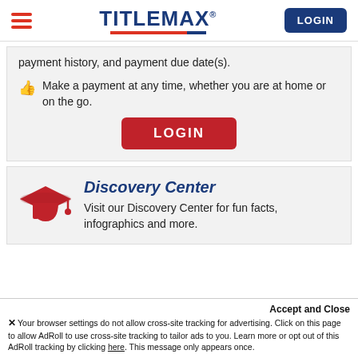TitleMax — LOGIN
payment history, and payment due date(s).
Make a payment at any time, whether you are at home or on the go.
LOGIN
Discovery Center
Visit our Discovery Center for fun facts, infographics and more.
Accept and Close
✕ Your browser settings do not allow cross-site tracking for advertising. Click on this page to allow AdRoll to use cross-site tracking to tailor ads to you. Learn more or opt out of this AdRoll tracking by clicking here. This message only appears once.